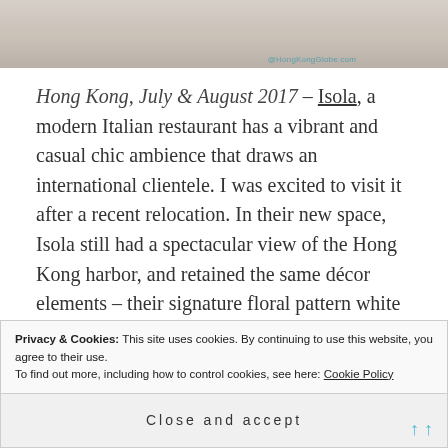[Figure (photo): Top portion of a photo showing a person in white clothing, partially cropped. Watermark text visible at bottom right of image.]
Hong Kong, July & August 2017 – Isola, a modern Italian restaurant has a vibrant and casual chic ambience that draws an international clientele. I was excited to visit it after a recent relocation. In their new space, Isola still had a spectacular view of the Hong Kong harbor, and retained the same décor elements – their signature floral pattern white wall panels. As always, Isola serves up a selection of gorgeous and tasty Italian dishes.
Privacy & Cookies: This site uses cookies. By continuing to use this website, you agree to their use.
To find out more, including how to control cookies, see here: Cookie Policy
Close and accept